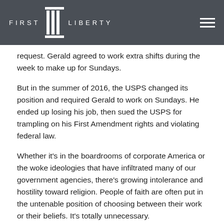FIRST LIBERTY
request. Gerald agreed to work extra shifts during the week to make up for Sundays.
But in the summer of 2016, the USPS changed its position and required Gerald to work on Sundays. He ended up losing his job, then sued the USPS for trampling on his First Amendment rights and violating federal law.
Whether it’s in the boardrooms of corporate America or the woke ideologies that have infiltrated many of our government agencies, there’s growing intolerance and hostility toward religion. People of faith are often put in the untenable position of choosing between their work or their beliefs. It’s totally unnecessary.